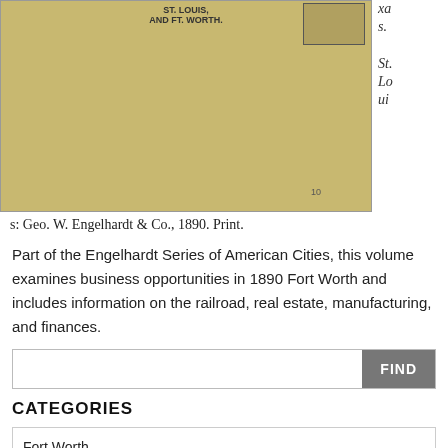[Figure (photo): Aged yellowish envelope or document cover showing text 'ST. LOUIS, AND FT. WORTH.' with a stamp/seal in the upper right and handwritten number '10']
xa s. St. Lo ui s: Geo. W. Engelhardt & Co., 1890. Print.
Part of the Engelhardt Series of American Cities, this volume examines business opportunities in 1890 Fort Worth and includes information on the railroad, real estate, manufacturing, and finances.
FIND
CATEGORIES
Fort Worth
ARCHIVES